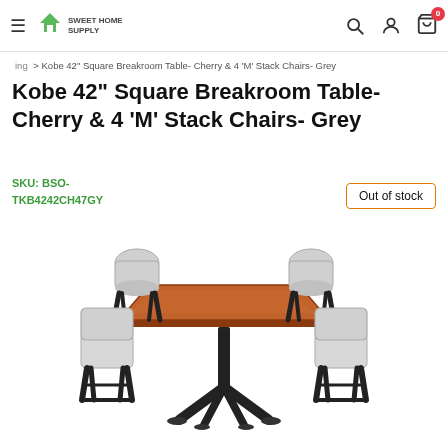Sweet Home Supply — navigation header with hamburger menu, logo, search, account, and cart icons
ing > Kobe 42" Square Breakroom Table- Cherry & 4 'M' Stack Chairs- Grey
Kobe 42" Square Breakroom Table- Cherry & 4 'M' Stack Chairs- Grey
SKU: BSO-TKB4242CH47GY
Out of stock
[Figure (photo): Product photo of a cherry wood square breakroom table with a black X-base pedestal and four grey 'M' stack chairs arranged around it.]